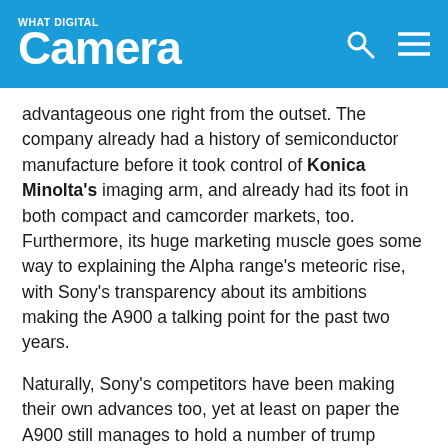WHAT DIGITAL Camera
advantageous one right from the outset. The company already had a history of semiconductor manufacture before it took control of Konica Minolta's imaging arm, and already had its foot in both compact and camcorder markets, too. Furthermore, its huge marketing muscle goes some way to explaining the Alpha range's meteoric rise, with Sony's transparency about its ambitions making the A900 a talking point for the past two years.
Naturally, Sony's competitors have been making their own advances too, yet at least on paper the A900 still manages to hold a number of trump cards, not least in its resolution. Perhaps more important, the A900 provides the strongest indication yet as to what part Sony will play in the ever-changing DSLR landscape. So, will the A900 be the camera that finally ends the dominance of Canon and Nikon?
More fo...